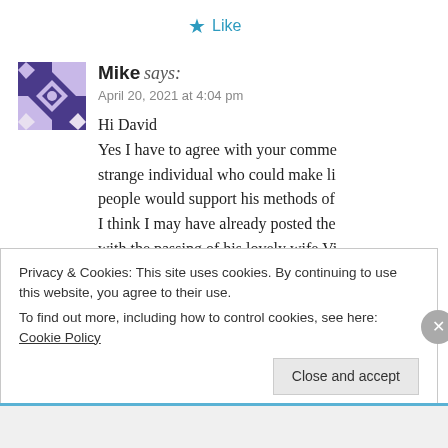★ Like
Mike says:
April 20, 2021 at 4:04 pm
Hi David
Yes I have to agree with your comme... strange individual who could make li... people would support his methods of...
I think I may have already posted the... with the passing of his lovely wife Vi... the age of 82.
Privacy & Cookies: This site uses cookies. By continuing to use this website, you agree to their use.
To find out more, including how to control cookies, see here: Cookie Policy
Close and accept